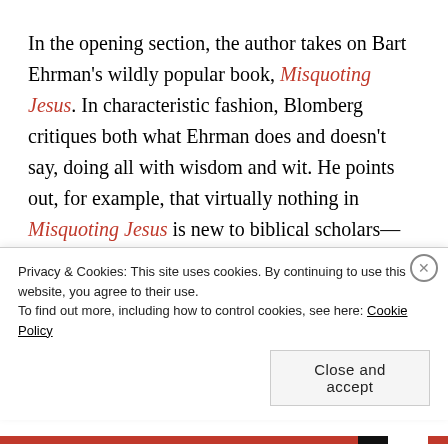In the opening section, the author takes on Bart Ehrman's wildly popular book, Misquoting Jesus. In characteristic fashion, Blomberg critiques both what Ehrman does and doesn't say, doing all with wisdom and wit. He points out, for example, that virtually nothing in Misquoting Jesus is new to biblical scholars—both liberal and evangelical, and all stripes in between. Non-scholars, especially atheists and Muslim apologists, latched onto the book and made preposterous claims that lay Christians were unprepared
Privacy & Cookies: This site uses cookies. By continuing to use this website, you agree to their use. To find out more, including how to control cookies, see here: Cookie Policy
Close and accept